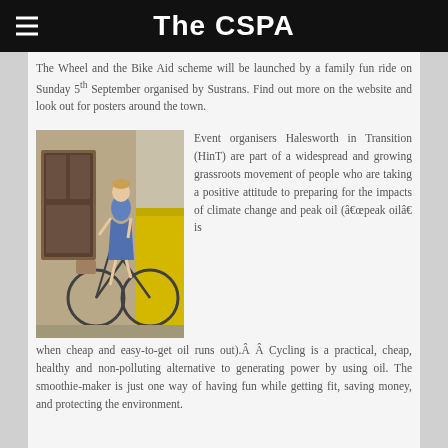The CSPA
The Wheel and the Bike Aid scheme will be launched by a family fun ride on Sunday 5th September organised by Sustrans. Find out more on the website and look out for posters around the town.
[Figure (photo): A woman on a bicycle outdoors, with buildings and a yellow container in the background.]
Event organisers Halesworth in Transition (HinT) are part of a widespread and growing grassroots movement of people who are taking a positive attitude to preparing for the impacts of climate change and peak oil (“peak oil” is when cheap and easy-to-get oil runs out).Â Â Cycling is a practical, cheap, healthy and non-polluting alternative to generating power by using oil. The smoothie-maker is just one way of having fun while getting fit, saving money, and protecting the environment.